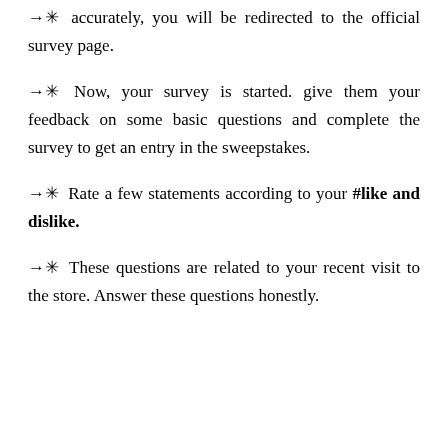→✳ Once, you will provide all these details accurately, you will be redirected to the official survey page.
→✳ Now, your survey is started. give them your feedback on some basic questions and complete the survey to get an entry in the sweepstakes.
→✳ Rate a few statements according to your #like and dislike.
→✳ These questions are related to your recent visit to the store. Answer these questions honestly.